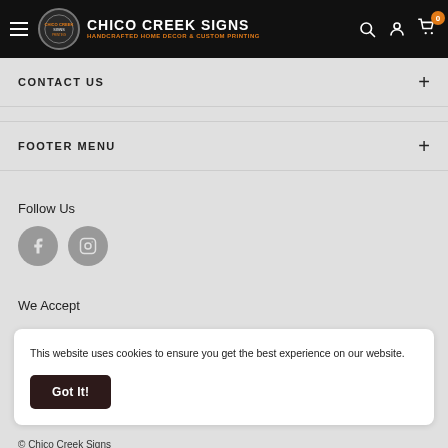CHICO CREEK SIGNS — HANDCRAFTED HOME DECOR & CUSTOM PRINTING
CONTACT US
FOOTER MENU
Follow Us
We Accept
This website uses cookies to ensure you get the best experience on our website.
Got It!
© Chico Creek Signs